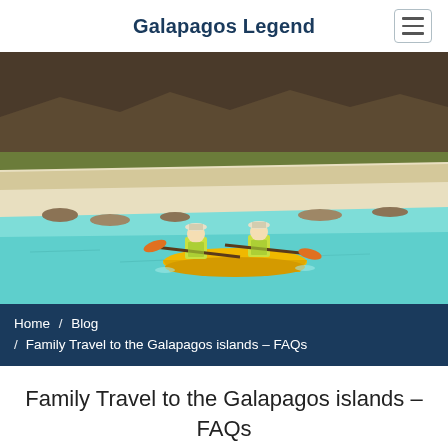Galapagos Legend
[Figure (photo): Two people kayaking in a yellow tandem kayak on turquoise water near a sandy beach with sea lions resting on the shore. Arid hills with sparse vegetation in the background. Galapagos Islands.]
Home / Blog / Family Travel to the Galapagos islands – FAQs
Family Travel to the Galapagos islands – FAQs